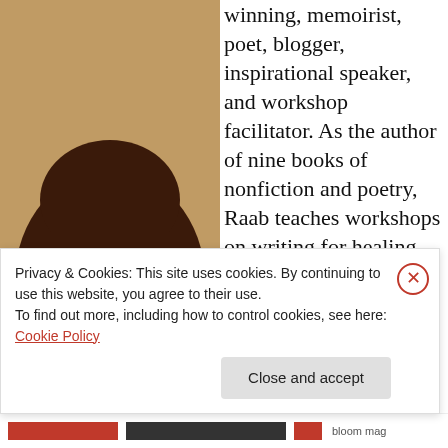[Figure (photo): Headshot photo of a middle-aged woman with long curly brown hair, wearing colorful glasses and a gray jacket, smiling with her chin resting on her hand. Warm, blurred indoor background.]
winning, memoirist, poet, blogger, inspirational speaker, and workshop facilitator. As the author of nine books of nonfiction and poetry, Raab teaches workshops on writing for healing and transformation, inspiring others to use creativity for healing and self-discoveries. Her 2 latest
Privacy & Cookies: This site uses cookies. By continuing to use this website, you agree to their use.
To find out more, including how to control cookies, see here: Cookie Policy
Close and accept